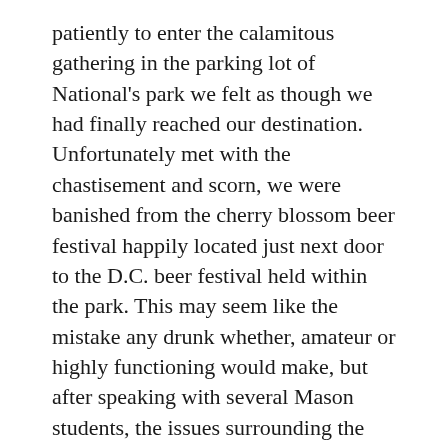patiently to enter the calamitous gathering in the parking lot of National's park we felt as though we had finally reached our destination. Unfortunately met with the chastisement and scorn, we were banished from the cherry blossom beer festival happily located just next door to the D.C. beer festival held within the park. This may seem like the mistake any drunk whether, amateur or highly functioning would make, but after speaking with several Mason students, the issues surrounding the proximity of the two festivals seemed an all too common theme.
“They could have handled that better,